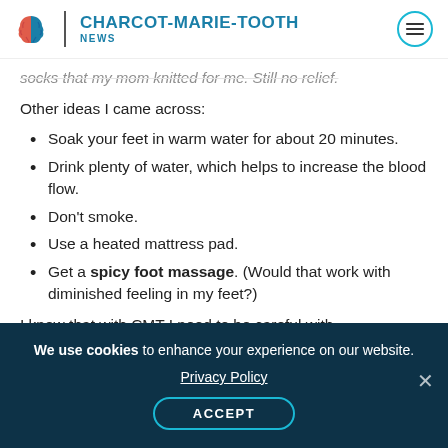CHARCOT-MARIE-TOOTH NEWS
socks that my mom knitted for me. Still no relief.
Other ideas I came across:
Soak your feet in warm water for about 20 minutes.
Drink plenty of water, which helps to increase the blood flow.
Don't smoke.
Use a heated mattress pad.
Get a spicy foot massage. (Would that work with diminished feeling in my feet?)
I know that with CMT I need to be careful with
We use cookies to enhance your experience on our website. Privacy Policy ACCEPT